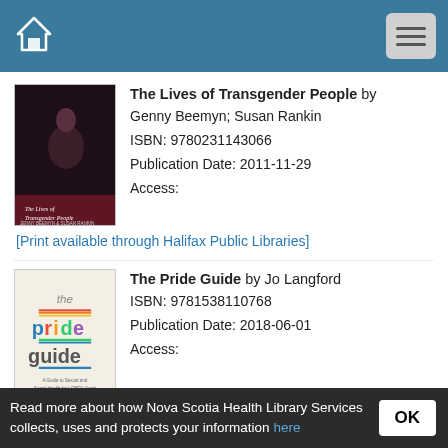Home | Menu
[Figure (photo): Book cover of The Lives of Transgender People]
The Lives of Transgender People by Genny Beemyn; Susan Rankin
ISBN: 9780231143066
Publication Date: 2011-11-29
Access:
[Print available through Halifax Public Libraries]
[Figure (photo): Book cover of The Pride Guide]
The Pride Guide by Jo Langford
ISBN: 9781538110768
Publication Date: 2018-06-01
Access:
Read more about how Nova Scotia Health Library Services collects, uses and protects your information here OK